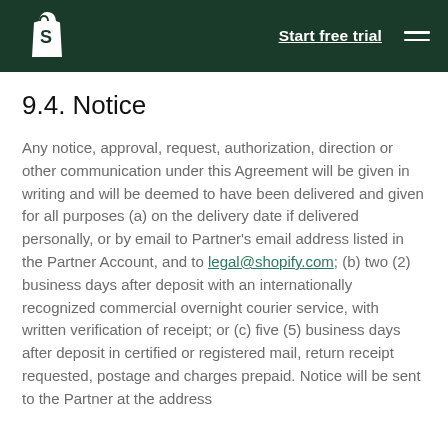Start free trial
9.4. Notice
Any notice, approval, request, authorization, direction or other communication under this Agreement will be given in writing and will be deemed to have been delivered and given for all purposes (a) on the delivery date if delivered personally, or by email to Partner's email address listed in the Partner Account, and to legal@shopify.com; (b) two (2) business days after deposit with an internationally recognized commercial overnight courier service, with written verification of receipt; or (c) five (5) business days after deposit in certified or registered mail, return receipt requested, postage and charges prepaid. Notice will be sent to the Partner at the address